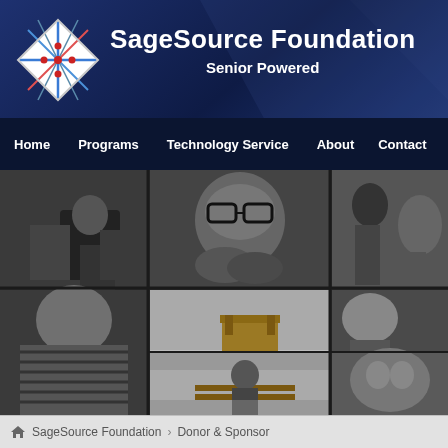SageSource Foundation — Senior Powered
[Figure (logo): SageSource Foundation diamond-shaped logo with colored lines and red dots]
SageSource Foundation
Senior Powered
Home
Programs
Technology Service
About
Contact
[Figure (photo): Black and white photo collage of elderly/senior people in various situations — sitting alone, looking pensive, facing camera, outdoors on bench]
SageSource Foundation › Donor & Sponsor